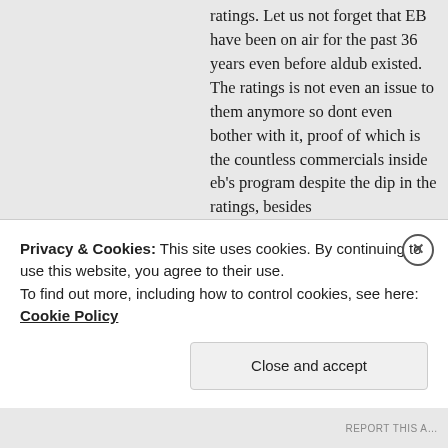ratings. Let us not forget that EB have been on air for the past 36 years even before aldub existed. The ratings is not even an issue to them anymore so dont even bother with it, proof of which is the countless commercials inside eb's program despite the dip in the ratings, besides ALDUB/MAICHARD's bankability is not confined within eat bulaga or ks only since they have the aldubnation backing them up and patronizing every product, magazine they endorse.

It has been a bumpy rode for Aldub for the past few days, but i still have high
Privacy & Cookies: This site uses cookies. By continuing to use this website, you agree to their use.
To find out more, including how to control cookies, see here: Cookie Policy
Close and accept